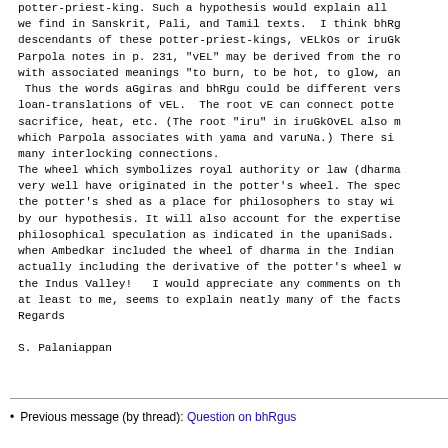potter-priest-king. Such a hypothesis would explain all we find in Sanskrit, Pali, and Tamil texts.  I think bhRg descendants of these potter-priest-kings, vELkOs or iruGk Parpola notes in p. 231, "vEL" may be derived from the ro with associated meanings "to burn, to be hot, to glow, an  Thus the words aGgiras and bhRgu could be different vers loan-translations of vEL.  The root vE can connect potte sacrifice, heat, etc. (The root "iru" in iruGkOvEL also m which Parpola associates with yama and varuNa.) There si many interlocking connections.
The wheel which symbolizes royal authority or law (dharma very well have originated in the potter's wheel. The spec the potter's shed as a place for philosophers to stay wi by our hypothesis. It will also account for the expertise philosophical speculation as indicated in the upaniSads. when Ambedkar included the wheel of dharma in the Indian actually including the derivative of the potter's wheel w the Indus Valley!   I would appreciate any comments on th at least to me, seems to explain neatly many of the facts
Regards
S. Palaniappan
Previous message (by thread): Question on bhRgus